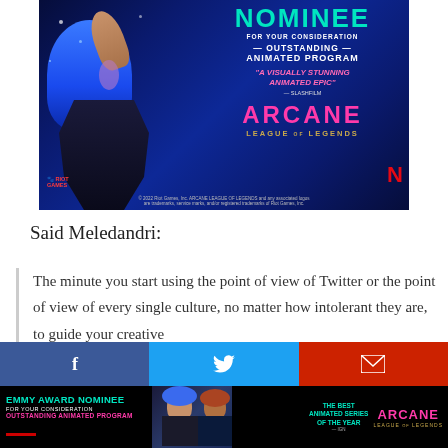[Figure (illustration): Arcane: League of Legends Emmy nominee promotional ad. Shows animated character with blue hair against blue background. Text reads: NOMINEE FOR YOUR CONSIDERATION — OUTSTANDING — ANIMATED PROGRAM, 'A VISUALLY STUNNING ANIMATED EPIC' — SLASHFILM, ARCANE LEAGUE OF LEGENDS. Riot Games and Netflix logos present. Copyright 2022 Riot Games Inc.]
Said Meledandri:
The minute you start using the point of view of Twitter or the point of view of every single culture, no matter how intolerant they are, to guide your creative
[Figure (infographic): Social media sharing bar with Facebook (blue), Twitter (light blue), and Email (red) icons]
[Figure (illustration): Bottom banner: EMMY AWARD NOMINEE FOR YOUR CONSIDERATION OUTSTANDING ANIMATED PROGRAM. Shows Arcane characters. THE BEST ANIMATED SERIES OF THE YEAR — IGN. ARCANE LEAGUE OF LEGENDS logo.]